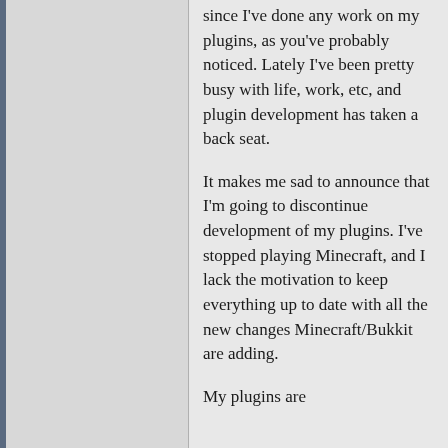since I've done any work on my plugins, as you've probably noticed. Lately I've been pretty busy with life, work, etc, and plugin development has taken a back seat.
It makes me sad to announce that I'm going to discontinue development of my plugins. I've stopped playing Minecraft, and I lack the motivation to keep everything up to date with all the new changes Minecraft/Bukkit are adding.
My plugins are